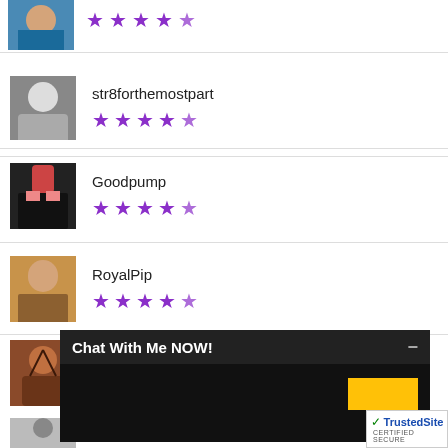[Figure (photo): Profile photo top partial - man in pool]
★★★★½ (4.5 stars)
[Figure (photo): Profile photo of str8forthemostpart - black and white photo]
str8forthemostpart
★★★★½ (4.5 stars)
[Figure (photo): Profile photo of Goodpump]
Goodpump
★★★★½ (4.5 stars)
[Figure (photo): Profile photo of RoyalPip]
RoyalPip
★★★★½ (4.5 stars)
[Figure (photo): Profile photo partial at bottom]
Chat With Me NOW!
[Figure (other): TrustedSite certified secure badge]